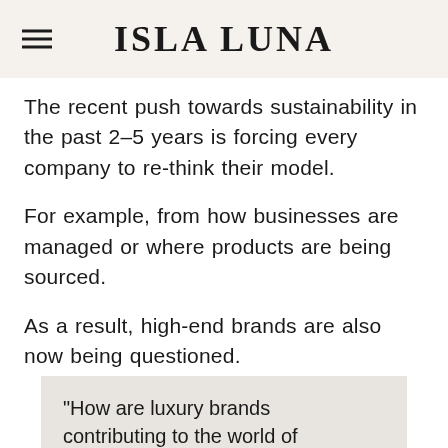ISLA LUNA
The recent push towards sustainability in the past 2-5 years is forcing every company to re-think their model.
For example, from how businesses are managed or where products are being sourced.
As a result, high-end brands are also now being questioned.
“How are luxury brands contributing to the world of